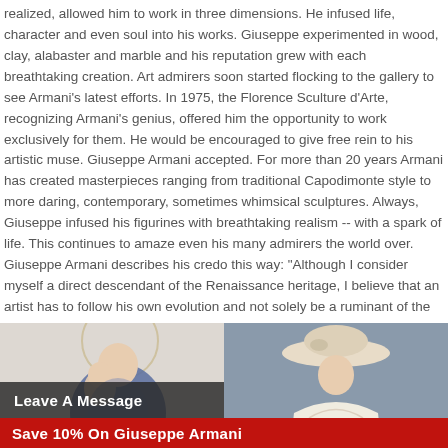realized, allowed him to work in three dimensions. He infused life, character and even soul into his works. Giuseppe experimented in wood, clay, alabaster and marble and his reputation grew with each breathtaking creation. Art admirers soon started flocking to the gallery to see Armani's latest efforts. In 1975, the Florence Sculture d'Arte, recognizing Armani's genius, offered him the opportunity to work exclusively for them. He would be encouraged to give free rein to his artistic muse. Giuseppe Armani accepted. For more than 20 years Armani has created masterpieces ranging from traditional Capodimonte style to more daring, contemporary, sometimes whimsical sculptures. Always, Giuseppe infused his figurines with breathtaking realism -- with a spark of life. This continues to amaze even his many admirers the world over. Giuseppe Armani describes his credo this way: "Although I consider myself a direct descendant of the Renaissance heritage, I believe that an artist has to follow his own evolution and not solely be a ruminant of the past, as glorious as it may have been. An artist conducts a search that may lead him far out in exploring new areas of interest. I continually search to discover new and better means of expression."
[Figure (photo): Armani figurine of Madonna with child, white and blue, against white background, semi-circular golden halo]
[Figure (photo): Armani figurine of a woman in a wide-brimmed hat, cream/ivory coloring, against grey-blue background]
Leave A Message
Save 10% On Giuseppe Armani